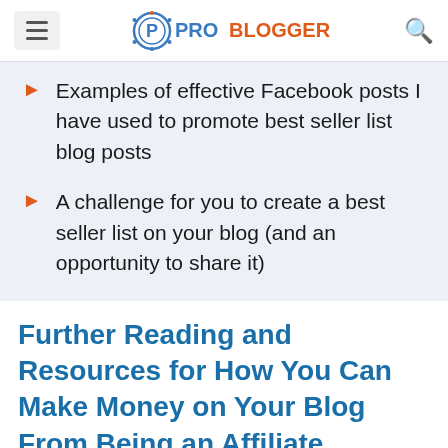PROBLOGGER
Examples of effective Facebook posts I have used to promote best seller list blog posts
A challenge for you to create a best seller list on your blog (and an opportunity to share it)
Further Reading and Resources for How You Can Make Money on Your Blog From Being an Affiliate